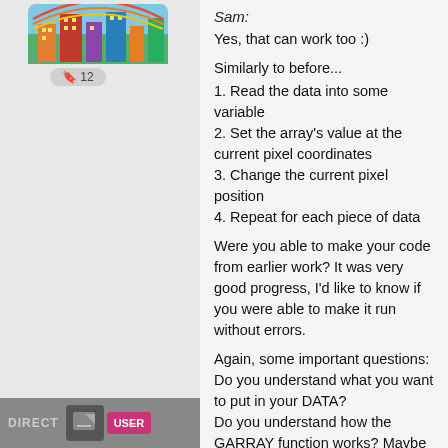[Figure (screenshot): Avatar image of a colorful city-themed game screenshot]
🔖 12
Sam:
Yes, that can work too :)
Similarly to before...
1. Read the data into some variable
2. Set the array's value at the current pixel coordinates
3. Change the current pixel position
4. Repeat for each piece of data
Were you able to make your code from earlier work? It was very good progress, I'd like to know if you were able to make it run without errors.
Again, some important questions:
Do you understand what you want to put in your DATA?
Do you understand how the GARRAY function works? Maybe try using it to change one pixel on the screen, to see if it works the way you think.
Do you understand how to use arrays?
[Figure (screenshot): DIRECT label and USER button in bottom bar]